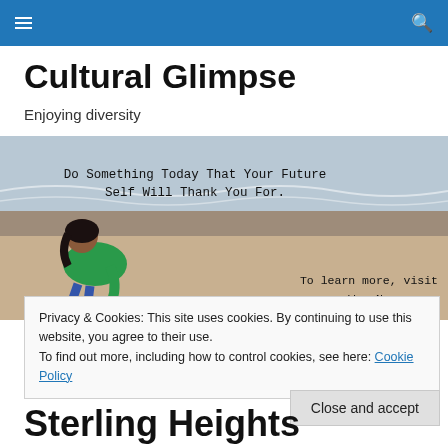Navigation bar with hamburger menu and search icon
Cultural Glimpse
Enjoying diversity
[Figure (photo): Hero image of a person bending over on a beach with motivational text: 'Do Something Today That Your Future Self Will Thank You For.' and 'To learn more, visit www.WeamNamou.com']
Privacy & Cookies: This site uses cookies. By continuing to use this website, you agree to their use.
To find out more, including how to control cookies, see here: Cookie Policy
Close and accept
Sterling Heights